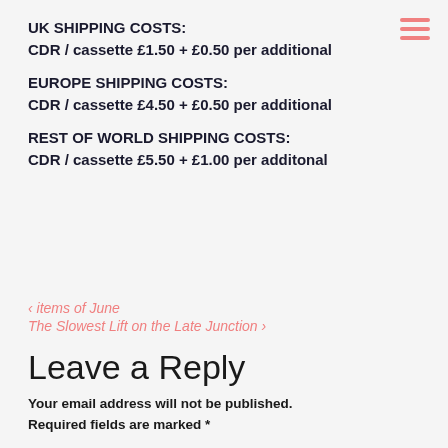UK SHIPPING COSTS:
CDR / cassette £1.50 + £0.50 per additional
EUROPE SHIPPING COSTS:
CDR / cassette £4.50 + £0.50 per additional
REST OF WORLD SHIPPING COSTS:
CDR / cassette £5.50 + £1.00 per additonal
< items of June
The Slowest Lift on the Late Junction >
Leave a Reply
Your email address will not be published. Required fields are marked *